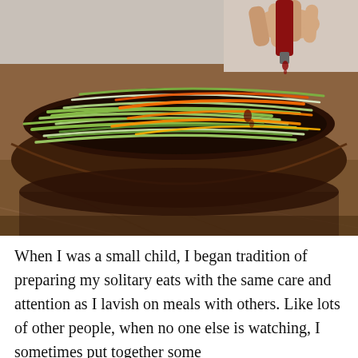[Figure (photo): Close-up photograph of a dark brown ceramic bowl filled with julienned green and orange vegetables (cucumber/celery strips and carrot strips), being dressed with a dark sauce from a small bottle held by a hand. The bowl sits on a wooden cutting board.]
When I was a small child, I began tradition of preparing my solitary eats with the same care and attention as I lavish on meals with others. Like lots of other people, when no one else is watching, I sometimes put together some